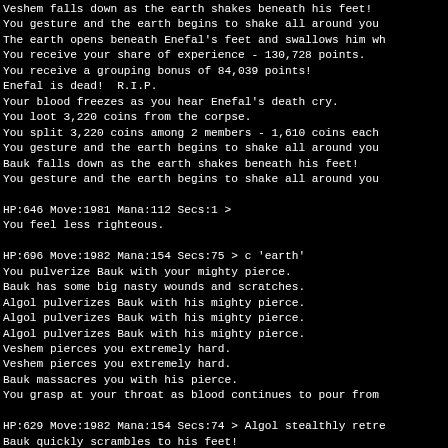Veshem falls down as the earth shakes beneath his feet!
You gesture and the earth begins to shake all around you
The earth opens beneath Enefal's feet and swallows him wh
You receive your share of experience - 130,728 points.
You receive a grouping bonus of 84,039 points!
Enefal is dead!  R.I.P.
Your blood freezes as you hear Enefal's death cry.
You loot 3,220 coins from the corpse.
You split 3,220 coins among 2 members - 1,610 coins each
You gesture and the earth begins to shake all around you
Bauk falls down as the earth shakes beneath his feet!
You gesture and the earth begins to shake all around you
HP:646 Move:1981 Mana:112 Secs:1 >
You feel less righteous.
HP:696 Move:1982 Mana:154 Secs:75 > c 'earth'
You pulverize Bauk with your mighty pierce.
Bauk has some big nasty wounds and scratches.
Algol pulverizes Bauk with his mighty pierce.
Algol pulverizes Bauk with his mighty pierce.
Algol pulverizes Bauk with his mighty pierce.
Veshem pierces you extremely hard.
Veshem pierces you extremely hard.
Bauk massacres you with his pierce.
You grasp at your throat as blood continues to pour from
HP:629 Move:1982 Mana:154 Secs:74 > Algol stealthly retre
Bauk quickly scrambles to his feet!
Okay.